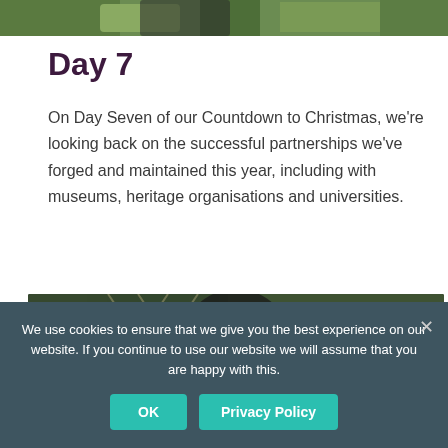[Figure (photo): Top strip of a nature/garden photo showing green foliage]
Day 7
On Day Seven of our Countdown to Christmas, we're looking back on the successful partnerships we've forged and maintained this year, including with museums, heritage organisations and universities.
[Figure (screenshot): Video thumbnail for Waterloo Uncovered's Countdown with logo and title overlay]
We use cookies to ensure that we give you the best experience on our website. If you continue to use our website we will assume that you are happy with this.